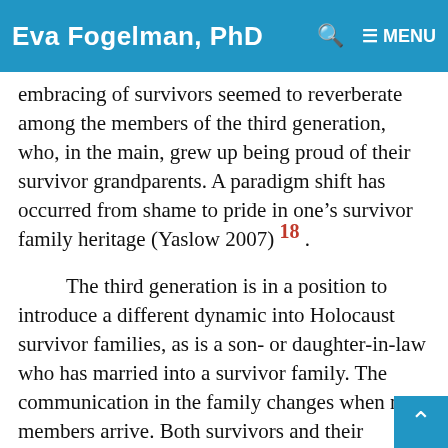Eva Fogelman, PhD
embracing of survivors seemed to reverberate among the members of the third generation, who, in the main, grew up being proud of their survivor grandparents. A paradigm shift has occurred from shame to pride in one's survivor family heritage (Yaslow 2007) 18 .
The third generation is in a position to introduce a different dynamic into Holocaust survivor families, as is a son- or daughter-in-law who has married into a survivor family. The communication in the family changes when new members arrive. Both survivors and their children are a to be free to open up communication